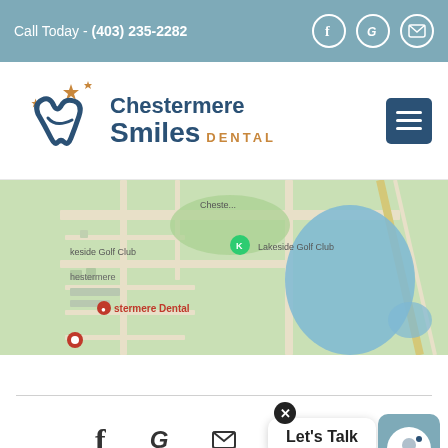Call Today - (403) 235-2282
[Figure (logo): Chestermere Smiles Dental logo with tooth/smile icon and orange star accents]
[Figure (map): Google Maps screenshot showing Chestermere area with Lakeside Golf Club and Chestermere Dental marker]
Let's Talk